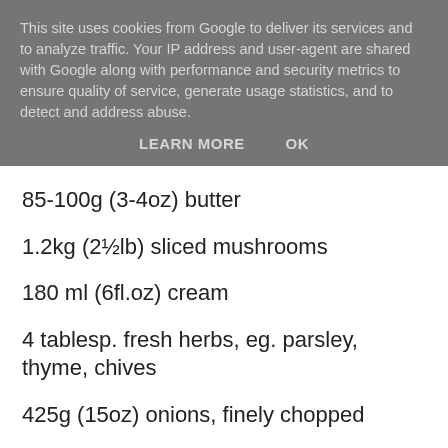This site uses cookies from Google to deliver its services and to analyze traffic. Your IP address and user-agent are shared with Google along with performance and security metrics to ensure quality of service, generate usage statistics, and to detect and address abuse.
LEARN MORE   OK
85-100g (3-4oz) butter
1.2kg (2½lb) sliced mushrooms
180 ml (6fl.oz) cream
4 tablesp. fresh herbs, eg. parsley, thyme, chives
425g (15oz) onions, finely chopped
Roux as needed (equal quantities of melted butter and flour cooked together for 2 – 3 mins)